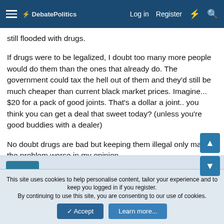DebatePolitics | Log in | Register
still flooded with drugs.

If drugs were to be legalized, I doubt too many more people would do them than the ones that already do. The government could tax the hell out of them and they'd still be much cheaper than current black market prices. Imagine... $20 for a pack of good joints. That's a dollar a joint.. you think you can get a deal that sweet today? (unless you're good buddies with a dealer)

No doubt drugs are bad but keeping them illegal only makes the problem worse in my opinion.
Just A Guy
This site uses cookies to help personalise content, tailor your experience and to keep you logged in if you register.
By continuing to use this site, you are consenting to our use of cookies.